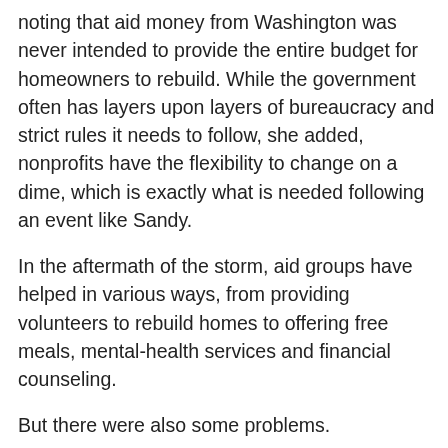noting that aid money from Washington was never intended to provide the entire budget for homeowners to rebuild. While the government often has layers upon layers of bureaucracy and strict rules it needs to follow, she added, nonprofits have the flexibility to change on a dime, which is exactly what is needed following an event like Sandy.
In the aftermath of the storm, aid groups have helped in various ways, from providing volunteers to rebuild homes to offering free meals, mental-health services and financial counseling.
But there were also some problems.
“In terms of these large charities raising large